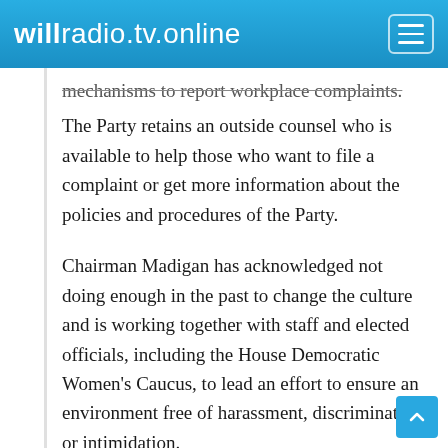willradio.tv.online
mechanisms to report workplace complaints. The Party retains an outside counsel who is available to help those who want to file a complaint or get more information about the policies and procedures of the Party.
Chairman Madigan has acknowledged not doing enough in the past to change the culture and is working together with staff and elected officials, including the House Democratic Women's Caucus, to lead an effort to ensure an environment free of harassment, discrimination or intimidation.